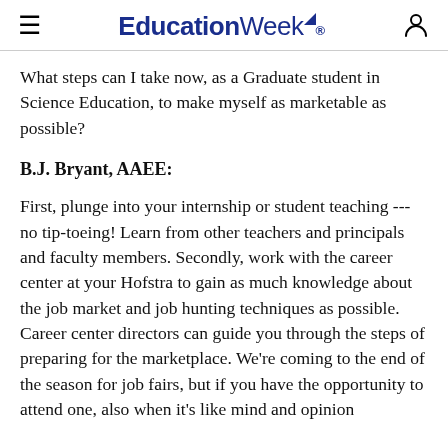EducationWeek
What steps can I take now, as a Graduate student in Science Education, to make myself as marketable as possible?
B.J. Bryant, AAEE:
First, plunge into your internship or student teaching --- no tip-toeing! Learn from other teachers and principals and faculty members. Secondly, work with the career center at your Hofstra to gain as much knowledge about the job market and job hunting techniques as possible. Career center directors can guide you through the steps of preparing for the marketplace. We're coming to the end of the season for job fairs, but if you have the opportunity to attend one, also when it's like mind and opinion